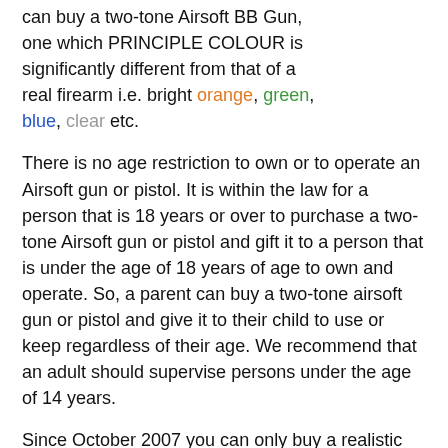can buy a two-tone Airsoft BB Gun, one which PRINCIPLE COLOUR is significantly different from that of a real firearm i.e. bright orange, green, blue, clear etc.
There is no age restriction to own or to operate an Airsoft gun or pistol. It is within the law for a person that is 18 years or over to purchase a two-tone Airsoft gun or pistol and gift it to a person that is under the age of 18 years of age to own and operate. So, a parent can buy a two-tone airsoft gun or pistol and give it to their child to use or keep regardless of their age. We recommend that an adult should supervise persons under the age of 14 years.
Since October 2007 you can only buy a realistic imitation firearm (one that looks like a real gun i.e. black, tan, gold or silver) if you are at least 18 years old and meet one of the following